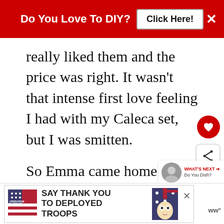[Figure (screenshot): Red banner ad at top: 'Do You Love To DIY? Click Here!' with white X close button]
really liked them and the price was right. It wasn't that intense first love feeling I had with my Caleca set, but I was smitten.
So Emma came home with me.
I bought service for eight in yellow. I grabbed an additional setting for the same pattern off the clearance shelf, to
[Figure (screenshot): Bottom banner ad: Operation Gratitude 'SAY THANK YOU TO DEPLOYED TROOPS' with patriotic imagery]